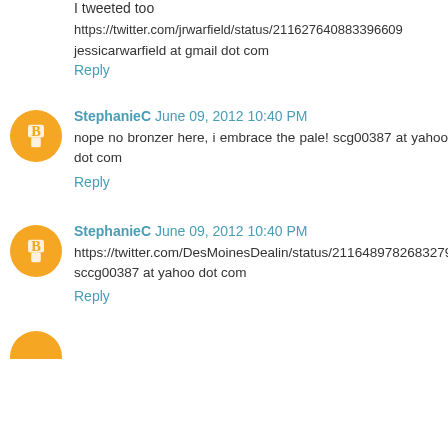I tweeted too
https://twitter.com/jrwarfield/status/211627640883396609
jessicarwarfield at gmail dot com
Reply
StephanieC June 09, 2012 10:40 PM
nope no bronzer here, i embrace the pale! scg00387 at yahoo dot com
Reply
StephanieC June 09, 2012 10:40 PM
https://twitter.com/DesMoinesDealin/status/211648978268327936 sccg00387 at yahoo dot com
Reply